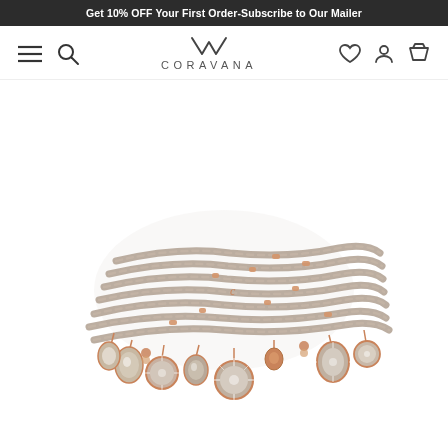Get 10% OFF Your First Order-Subscribe to Our Mailer
[Figure (logo): Coravana brand logo with stylized V symbol above the text CORAVANA]
[Figure (photo): A braided grey leather wrap bracelet with multiple coils, adorned with rose gold charms and crystal/gemstone pendants hanging from the coils. The bracelet features sparkling oval and round crystal charms with rose gold settings.]